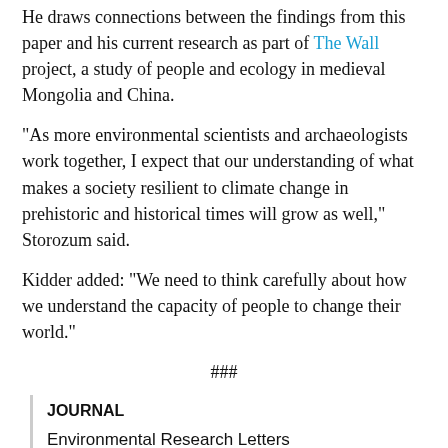He draws connections between the findings from this paper and his current research as part of The Wall project, a study of people and ecology in medieval Mongolia and China.
"As more environmental scientists and archaeologists work together, I expect that our understanding of what makes a society resilient to climate change in prehistoric and historical times will grow as well," Storozum said.
Kidder added: "We need to think carefully about how we understand the capacity of people to change their world."
###
JOURNAL
Environmental Research Letters
DOI
10.1088/1748-9326/abdf0a